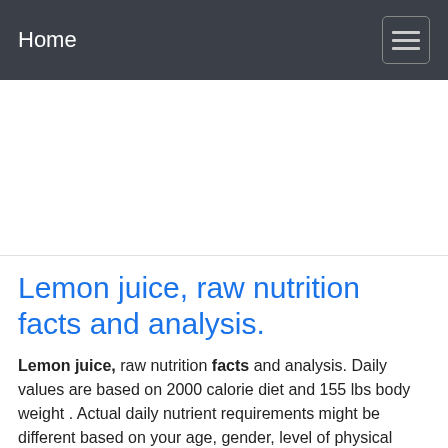Home
[Figure (other): Advertisement banner area (blank white space)]
Lemon juice, raw nutrition facts and analysis.
Lemon juice, raw nutrition facts and analysis. Daily values are based on 2000 calorie diet and 155 lbs body weight . Actual daily nutrient requirements might be different based on your age, gender, level of physical activity, medical